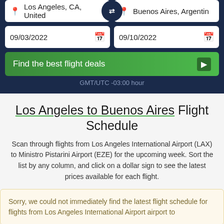[Figure (screenshot): Flight search widget showing origin 'Los Angeles, CA, United' and destination 'Buenos Aires, Argentin' with a swap button in between]
09/03/2022
09/10/2022
Find the best flight deals
GMT/UTC -03:00 hour
Los Angeles to Buenos Aires Flight Schedule
Scan through flights from Los Angeles International Airport (LAX) to Ministro Pistarini Airport (EZE) for the upcoming week. Sort the list by any column, and click on a dollar sign to see the latest prices available for each flight.
Sorry, we could not immediately find the latest flight schedule for flights from Los Angeles International Airport airport to